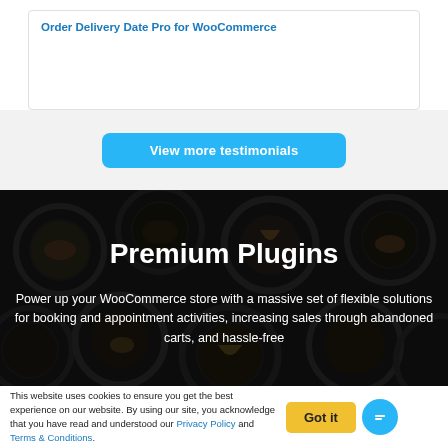Order Delivery Date Pro for WooCommerce
[Figure (screenshot): White card/box area showing top of a plugin testimonial card]
[Figure (screenshot): Light gray section with a bright blue 'View more testimonials' button centered]
View more testimonials
[Figure (photo): Dark background with circular dishes/bowls containing decorative items, overlaid with semi-transparent dark layer]
Premium Plugins
Power up your WooCommerce store with a massive set of flexible solutions for booking and appointment activities, increasing sales through abandoned carts, and hassle-free
This website uses cookies to ensure you get the best experience on our website. By using our site, you acknowledge that you have read and understood our Privacy Policy and Terms & Conditions.
Got it